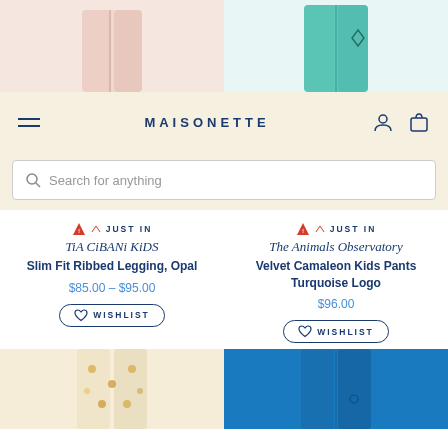[Figure (screenshot): Top portion of two product images cut off: pink leggings on left, teal pants on right]
MAISONETTE
[Figure (screenshot): Search bar with placeholder text 'Search for anything']
JUST IN
TiA CiBANi KiDS
Slim Fit Ribbed Legging, Opal
$85.00 - $95.00
WISHLIST
JUST IN
The Animals Observatory
Velvet Camaleon Kids Pants Turquoise Logo
$96.00
WISHLIST
[Figure (photo): Bottom product images: floral/illustrated shorts on left, blue pants on right]